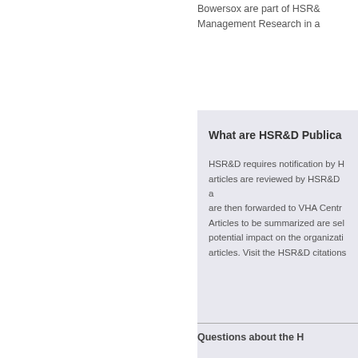Bowersox are part of HSR&D Management Research in a
What are HSR&D Publica
HSR&D requires notification by H articles are reviewed by HSR&D a are then forwarded to VHA Centr Articles to be summarized are sel potential impact on the organizati articles. Visit the HSR&D citations
Questions about the H